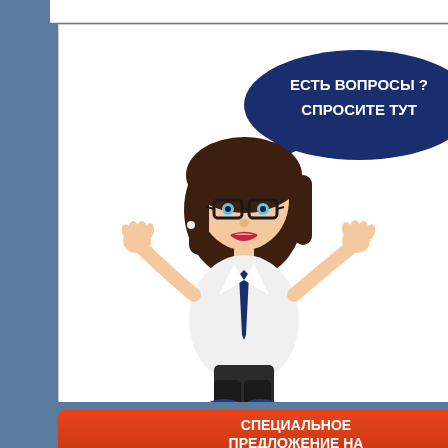[Figure (illustration): Cartoon businesswoman with dark hair and glasses, wearing white shirt and dark pants, with a dark blue speech bubble that says 'ЕСТЬ ВОПРОСЫ ? СПРОСИТЕ ТУТ' (Have questions? Ask here), posed with arms raised]
[Figure (illustration): Red/orange promotional banner button with white bold text reading 'СПЕЦИАЛЬНОЕ ПРЕДЛОЖЕНИЕ НА КАБЕЛЬНУЮ ПРОДУКЦИЮ' (Special offer on cable products)]